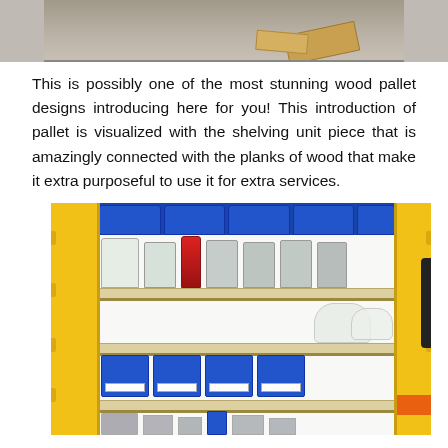[Figure (photo): Top portion of a photo showing wooden pallet pieces laid out on a concrete or pavement surface.]
This is possibly one of the most stunning wood pallet designs introducing here for you! This introduction of pallet is visualized with the shelving unit piece that is amazingly connected with the planks of wood that make it extra purposeful to use it for extra services.
[Figure (photo): A yellow-framed shelving unit / storage cart with blue plastic bins and storage jars containing screws and hardware on the shelves.]